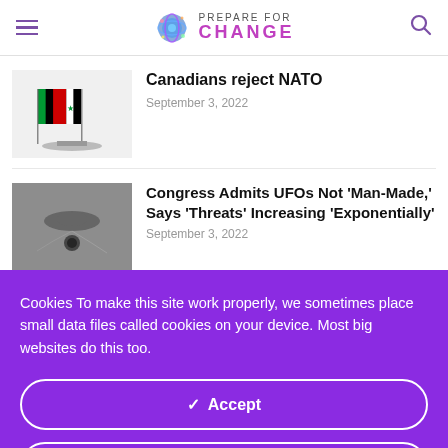PREPARE FOR CHANGE
Canadians reject NATO
September 3, 2022
Congress Admits UFOs Not 'Man-Made,' Says 'Threats' Increasing 'Exponentially'
September 3, 2022
Cookies To make this site work properly, we sometimes place small data files called cookies on your device. Most big websites do this too.
✓ Accept
Change Settings ⚙